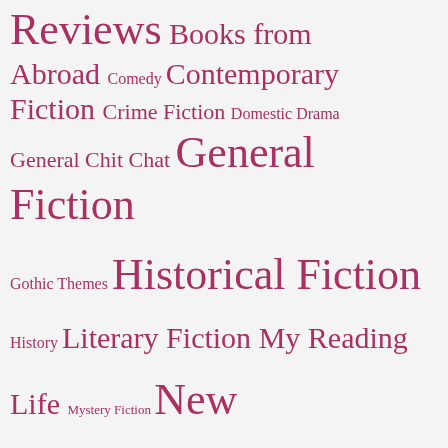[Figure (infographic): Tag cloud of book review genres and categories in shades of pink/crimson on a light grey background. Terms vary in size indicating frequency/importance. Terms include: Reviews, Books from Abroad, Comedy, Contemporary Fiction, Crime Fiction, Domestic Drama, General Chit Chat, General Fiction, Gothic Themes, Historical Fiction, History, Literary Fiction, My Reading Life, Mystery Fiction, New Release, Non-fiction, Romance, Rural Fiction, Suspense, Thought]